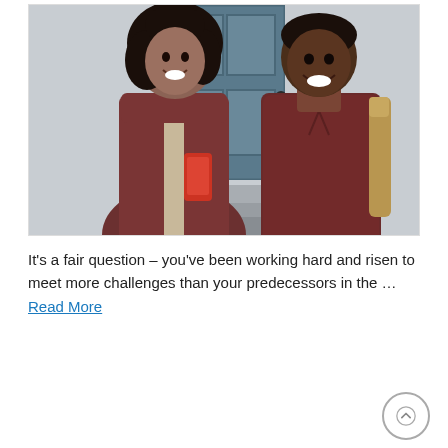[Figure (photo): Two young people smiling and laughing outside a blue door. The woman on the left has curly hair, wears a burgundy puffer vest over a beige top, and holds a red smartphone. The man on the right wears a dark red hoodie and carries a tan backpack.]
It's a fair question – you've been working hard and risen to meet more challenges than your predecessors in the … Read More